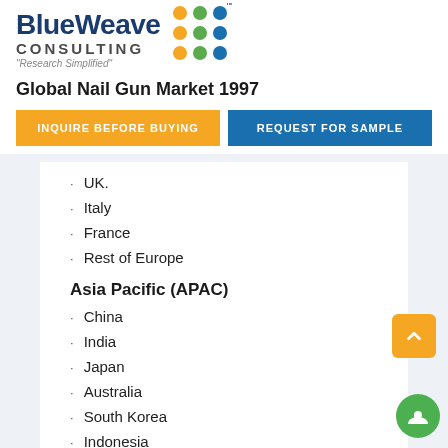[Figure (logo): BlueWeave Consulting logo with colored dots grid and tagline 'Research Simplified']
Global Nail Gun Market 1997
INQUIRE BEFORE BUYING
REQUEST FOR SAMPLE
UK.
Italy
France
Rest of Europe
Asia Pacific (APAC)
China
India
Japan
Australia
South Korea
Indonesia